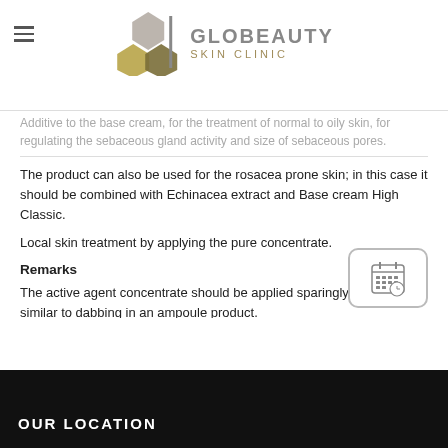GLOBEAUTY SKIN CLINIC
Additive to the base cream, for the treatment of normal to oily skin, for regulating the sebaceous gland activity and size of sebaceous pores.
The product can also be used for the rosacea prone skin; in this case it should be combined with Echinacea extract and Base cream High Classic.
Local skin treatment by applying the pure concentrate.
Remarks
The active agent concentrate should be applied sparingly to the skin similar to dabbing in an ampoule product.
Liposome concentrates increase the effectiveness of the different components of a cream and if applicable, also the effects of skin pre- and follow-up treatments as they improve the penetration of other substances. Liposome concentrates make the skin very receptive for other substances and may at first leave a feeling of dry skin, which then will change to a feeling of a very soft skin surface.
[Figure (other): Calendar/schedule icon button]
OUR LOCATION